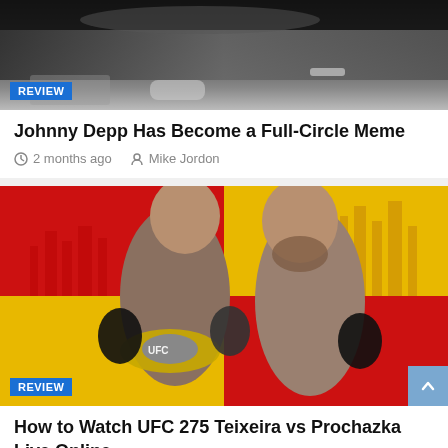[Figure (photo): Top portion of a car photo with a REVIEW badge overlay]
Johnny Depp Has Become a Full-Circle Meme
2 months ago  Mike Jordon
[Figure (photo): UFC 275 Teixeira vs Prochazka promotional image with two fighters on red and yellow background, REVIEW badge overlay]
How to Watch UFC 275 Teixeira vs Prochazka Live Online
2 months ago  Mike Jordon